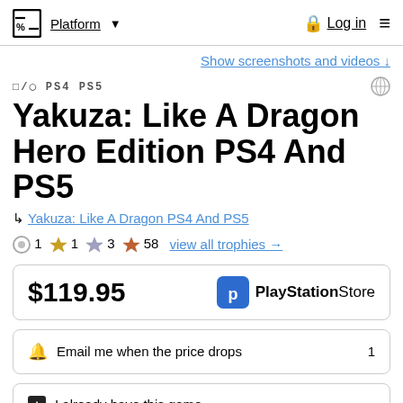Platform ▼  Log in  ≡
Show screenshots and videos ↓
PS4 PS5
Yakuza: Like A Dragon Hero Edition PS4 And PS5
↳ Yakuza: Like A Dragon PS4 And PS5
🏆 1  🏆 1  🏆 3  🏆 58  view all trophies →
$119.95  PlayStation Store
🔔 Email me when the price drops  1
➕ I already have this game
♡ Like   Hide